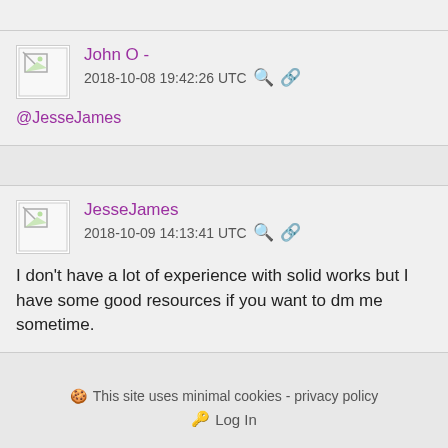John O -
2018-10-08 19:42:26 UTC
@JesseJames
JesseJames
2018-10-09 14:13:41 UTC
I don't have a lot of experience with solid works but I have some good resources if you want to dm me sometime.
This site uses minimal cookies - privacy policy
Log In